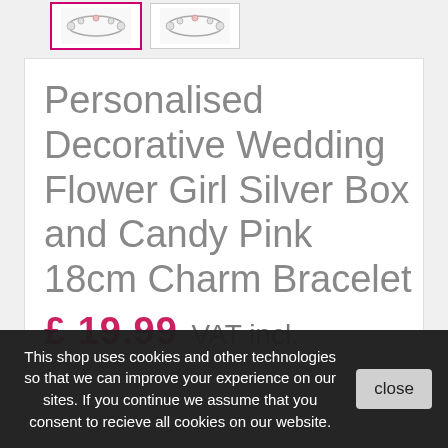[Figure (photo): Two thumbnail images of a bracelet, the first with a pink border (selected), the second with a grey border]
Personalised Decorative Wedding Flower Girl Silver Box and Candy Pink 18cm Charm Bracelet
£ 19.99 VAT incl.
This shop uses cookies and other technologies so that we can improve your experience on our sites. If you continue we assume that you consent to recieve all cookies on our website.